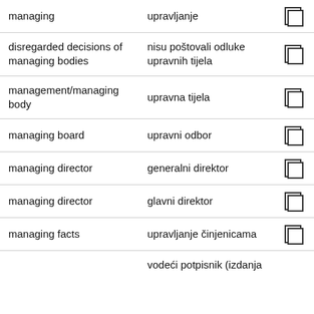| English | Croatian |  |
| --- | --- | --- |
| managing | upravljanje | ☐ |
| disregarded decisions of managing bodies | nisu poštovali odluke upravnih tijela | ☐ |
| management/managing body | upravna tijela | ☐ |
| managing board | upravni odbor | ☐ |
| managing director | generalni direktor | ☐ |
| managing director | glavni direktor | ☐ |
| managing facts | upravljanje činjenicama | ☐ |
|  | vodeći potpisnik (izdanja |  |